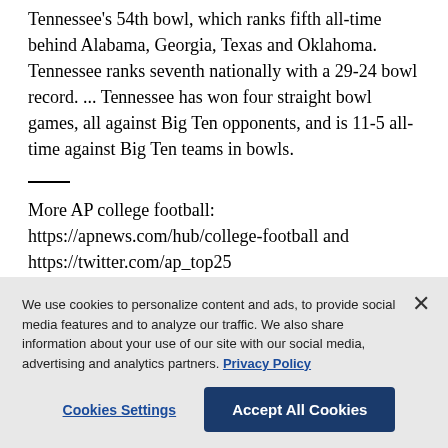Tennessee's 54th bowl, which ranks fifth all-time behind Alabama, Georgia, Texas and Oklahoma. Tennessee ranks seventh nationally with a 29-24 bowl record. ... Tennessee has won four straight bowl games, all against Big Ten opponents, and is 11-5 all-time against Big Ten teams in bowls.
More AP college football: https://apnews.com/hub/college-football and https://twitter.com/ap_top25
We use cookies to personalize content and ads, to provide social media features and to analyze our traffic. We also share information about your use of our site with our social media, advertising and analytics partners. Privacy Policy